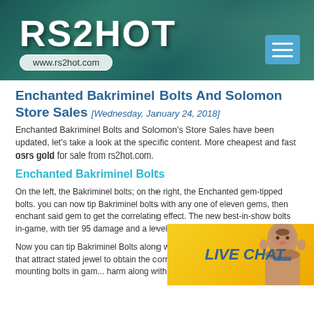RS2HOT www.rs2hot.com
Enchanted Bakriminel Bolts And Solomon Store Sales [Wednesday, January 24, 2018]
Enchanted Bakriminel Bolts and Solomon's Store Sales have been updated, let's take a look at the specific content. More cheapest and fast osrs gold for sale from rs2hot.com.
Enchanted Bakriminel Bolts
On the left, the Bakriminel bolts; on the right, the Enchanted gem-tipped bolts. you can now tip Bakriminel bolts with any one of eleven gems, then enchant said gem to get the correlating effect. The new best-in-show bolts in-game, with tier 95 damage and a level 99 ranged requirement to equip.
Now you can tip Bakriminel Bolts along with anyone of eleven gems, after that attract stated jewel to obtain the correlating i... The new best-in-show mounting bolts in gam... harm along with a level 99 ranged necessity...